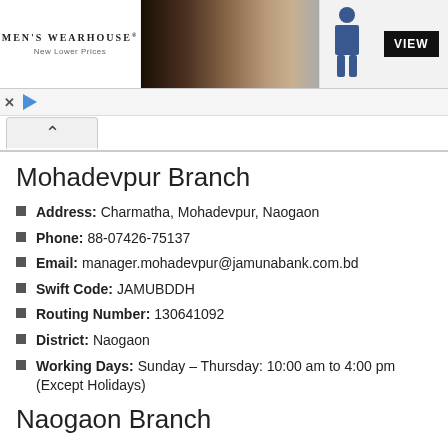[Figure (photo): Men's Wearhouse advertisement banner showing a couple in formal wear and a man in a blue suit with a VIEW button]
Mohadevpur Branch
Address: Charmatha, Mohadevpur, Naogaon
Phone: 88-07426-75137
Email: manager.mohadevpur@jamunabank.com.bd
Swift Code: JAMUBDDH
Routing Number: 130641092
District: Naogaon
Working Days: Sunday – Thursday: 10:00 am to 4:00 pm (Except Holidays)
Naogaon Branch